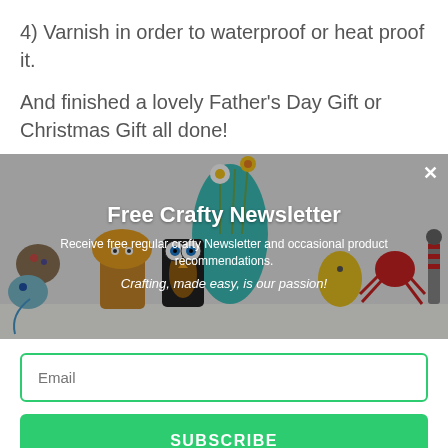4) Varnish in order to waterproof or heat proof it.
And finished a lovely Father's Day Gift or Christmas Gift all done!
[Figure (photo): Photo of colorful handmade crafts including animal figures made from toilet rolls and painted rocks, arranged on a white shelf with a flower vase in the background. Overlaid with a newsletter signup popup.]
Free Crafty Newsletter
Receive free regular crafty Newsletter and occasional product recommendations.
Crafting, made easy, is our passion!
Email
SUBSCRIBE